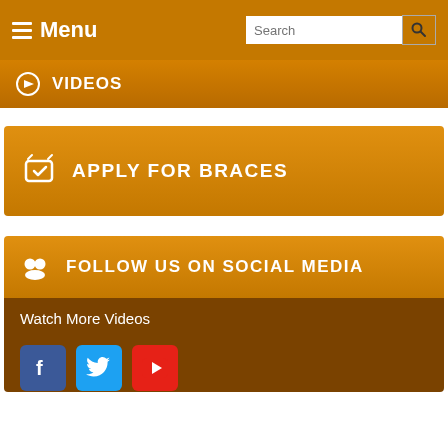Menu | Search
VIDEOS
APPLY FOR BRACES
FOLLOW US ON SOCIAL MEDIA
Watch More Videos
[Figure (illustration): Social media icons: Facebook (blue), Twitter (light blue), YouTube (red)]
Watch More Videos